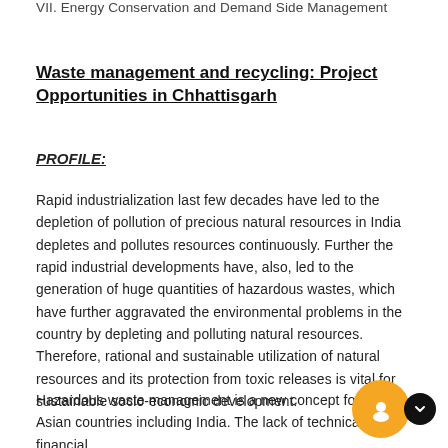VII. Energy Conservation and Demand Side Management
Waste management and recycling: Project Opportunities in Chhattisgarh
PROFILE:
Rapid industrialization last few decades have led to the depletion of pollution of precious natural resources in India depletes and pollutes resources continuously. Further the rapid industrial developments have, also, led to the generation of huge quantities of hazardous wastes, which have further aggravated the environmental problems in the country by depleting and polluting natural resources. Therefore, rational and sustainable utilization of natural resources and its protection from toxic releases is vital for sustainable socio-economic development.
Hazardous waste management is a new concept for most Asian countries including India. The lack of technical and financial